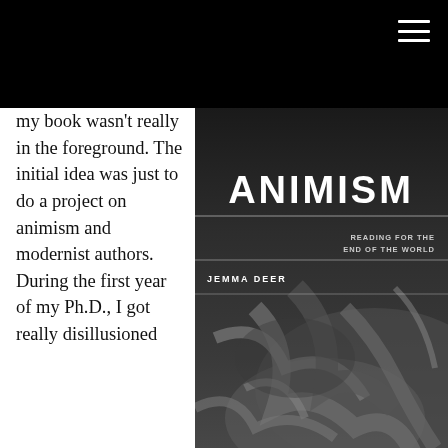[Figure (photo): Book cover for 'Animism: Reading for the End of the World' by Jemma Deer, showing gnarled tree roots on a dark background with title text and subtitle]
my book wasn't really in the foreground. The initial idea was just to do a project on animism and modernist authors. During the first year of my Ph.D., I got really disillusioned with the notion of doing a literary Ph.D. when around me the environment was breaking down. So I intermitted, I took a year out, and I didn't really intend to go back because I just thought that my energy would be better spent elsewhere. I had a conversation with my supervisor at Sussex, and he managed to change my mind. But I knew that if I was going to go back and finish the Ph.D., that it really had to be much more environmentally focused and environmentally engaged if I was going to see the thing through—if I was going